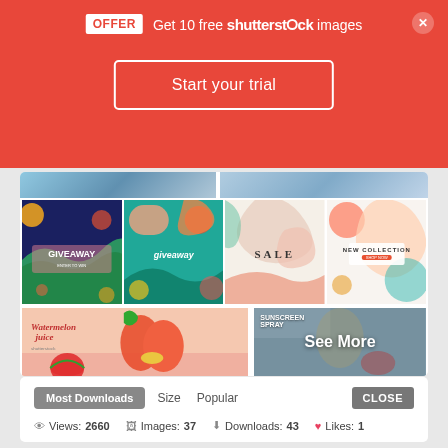OFFER  Get 10 free shutterstock images
Start your trial
[Figure (screenshot): Grid of colorful social media template thumbnails: GIVEAWAY dark floral, giveaway teal tropical, SALE pastel, NEW COLLECTION abstract. Below: Watermelon juice banner and Sunscreen Spray product with See More overlay.]
Most Downloads   Size   Popular   CLOSE
Views: 2660   Images: 37   Downloads: 43   Likes: 1